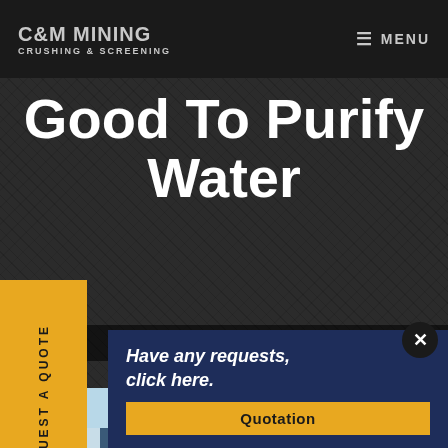C&M MINING CRUSHING & SCREENING
Good To Purify Water
Home > Is Crushed Quartz Good To Purify Water
REQUEST A QUOTE
[Figure (photo): Smiling woman with headset/microphone customer service representative]
Have any requests, click here.
Quotation
[Figure (photo): Industrial mining or crushing machinery with blue metal structure against light blue sky]